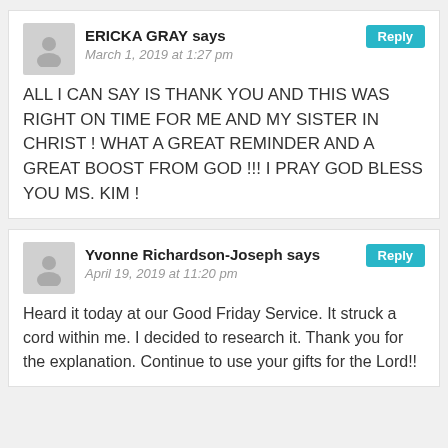ERICKA GRAY says
March 1, 2019 at 1:27 pm
Reply
ALL I CAN SAY IS THANK YOU AND THIS WAS RIGHT ON TIME FOR ME AND MY SISTER IN CHRIST ! WHAT A GREAT REMINDER AND A GREAT BOOST FROM GOD !!! I PRAY GOD BLESS YOU MS. KIM !
Yvonne Richardson-Joseph says
April 19, 2019 at 11:20 pm
Reply
Heard it today at our Good Friday Service. It struck a cord within me. I decided to research it. Thank you for the explanation. Continue to use your gifts for the Lord!!